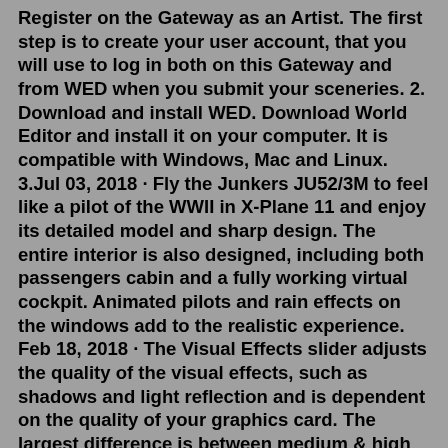Register on the Gateway as an Artist. The first step is to create your user account, that you will use to log in both on this Gateway and from WED when you submit your sceneries. 2. Download and install WED. Download World Editor and install it on your computer. It is compatible with Windows, Mac and Linux. 3.Jul 03, 2018 · Fly the Junkers JU52/3M to feel like a pilot of the WWII in X-Plane 11 and enjoy its detailed model and sharp design. The entire interior is also designed, including both passengers cabin and a fully working virtual cockpit. Animated pilots and rain effects on the windows add to the realistic experience. Feb 18, 2018 · The Visual Effects slider adjusts the quality of the visual effects, such as shadows and light reflection and is dependent on the quality of your graphics card. The largest difference is between medium & high because high enables HDR which allows spill lights. An email has been sent to verify your new profile. Please fill out all required fields before submitting your information.Jan 24,